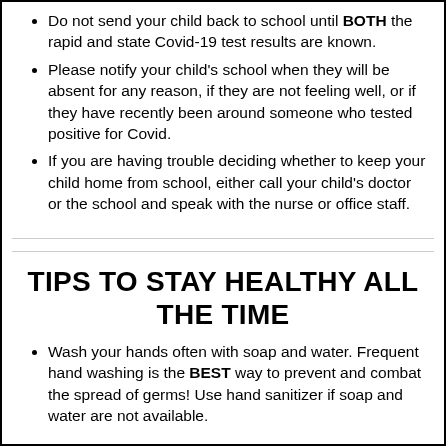Do not send your child back to school until BOTH the rapid and state Covid-19 test results are known.
Please notify your child's school when they will be absent for any reason, if they are not feeling well, or if they have recently been around someone who tested positive for Covid.
If you are having trouble deciding whether to keep your child home from school, either call your child's doctor or the school and speak with the nurse or office staff.
TIPS TO STAY HEALTHY ALL THE TIME
Wash your hands often with soap and water. Frequent hand washing is the BEST way to prevent and combat the spread of germs! Use hand sanitizer if soap and water are not available.